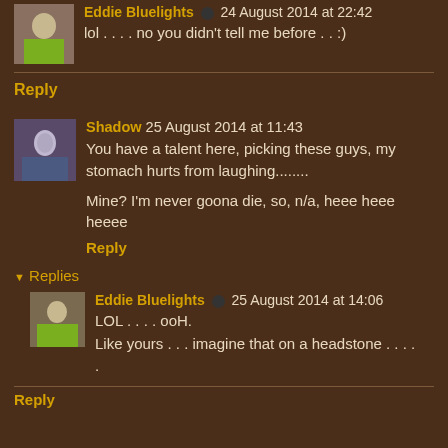Eddie Bluelights ✏ 24 August 2014 at 22:42
lol . . . . no you didn't tell me before . . :)
Reply
Shadow 25 August 2014 at 11:43
You have a talent here, picking these guys, my stomach hurts from laughing........
Mine? I'm never goona die, so, n/a, heee heee heeee
Reply
▼ Replies
Eddie Bluelights ✏ 25 August 2014 at 14:06
LOL . . . . ooH.
Like yours . . . imagine that on a headstone . . . .
.
Reply